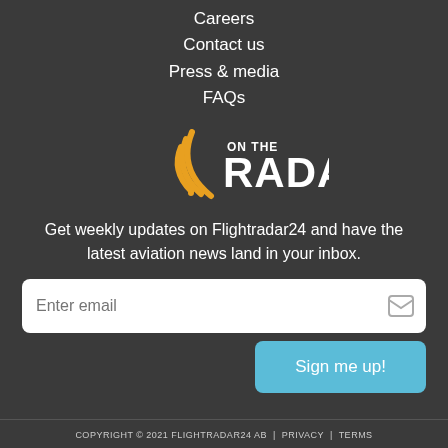Careers
Contact us
Press & media
FAQs
[Figure (logo): On The Radar logo — radar wave arcs in gold/yellow on left, text 'ON THE' in small caps above 'RADAR' in bold white]
Get weekly updates on Flightradar24 and have the latest aviation news land in your inbox.
Enter email
Sign me up!
COPYRIGHT © 2021 FLIGHTRADAR24 AB | PRIVACY | TERMS